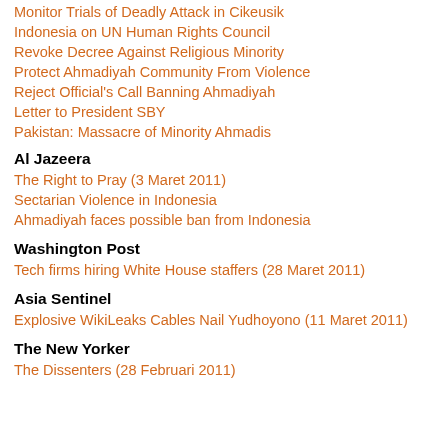Monitor Trials of Deadly Attack in Cikeusik
Indonesia on UN Human Rights Council
Revoke Decree Against Religious Minority
Protect Ahmadiyah Community From Violence
Reject Official's Call Banning Ahmadiyah
Letter to President SBY
Pakistan: Massacre of Minority Ahmadis
Al Jazeera
The Right to Pray (3 Maret 2011)
Sectarian Violence in Indonesia
Ahmadiyah faces possible ban from Indonesia
Washington Post
Tech firms hiring White House staffers (28 Maret 2011)
Asia Sentinel
Explosive WikiLeaks Cables Nail Yudhoyono (11 Maret 2011)
The New Yorker
The Dissenters (28 Februari 2011)